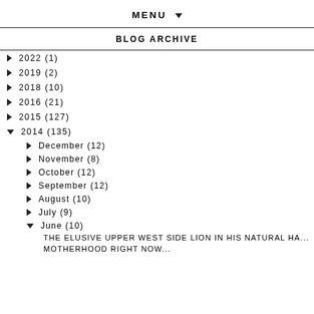MENU ▼
BLOG ARCHIVE
► 2022 (1)
► 2019 (2)
► 2018 (10)
► 2016 (21)
► 2015 (127)
▼ 2014 (135)
► December (12)
► November (8)
► October (12)
► September (12)
► August (10)
► July (9)
▼ June (10)
THE ELUSIVE UPPER WEST SIDE LION IN HIS NATURAL HA...
MOTHERHOOD RIGHT NOW...